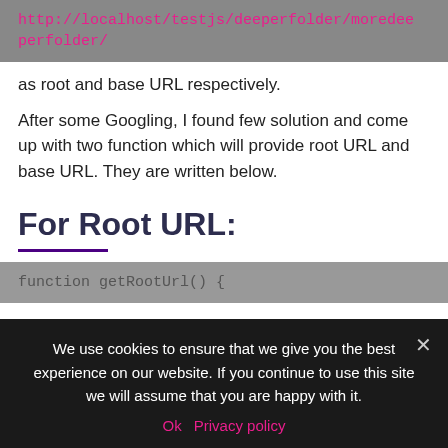[Figure (screenshot): Code block showing URL: http://localhost/testjs/deeperfolder/moredeeeperfolder/]
as root and base URL respectively.
After some Googling, I found few solution and come up with two function which will provide root URL and base URL. They are written below.
For Root URL:
[Figure (screenshot): Code block showing: function getRootUrl() {]
We use cookies to ensure that we give you the best experience on our website. If you continue to use this site we will assume that you are happy with it.
Ok  Privacy policy